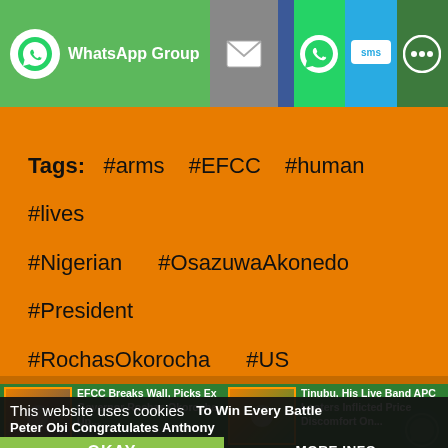[Figure (screenshot): Top sharing bar with WhatsApp Group button, email icon, Facebook divider, WhatsApp icon, SMS icon, and more options icon]
Tags: #arms #EFCC #human #lives #Nigerian #OsazuwaAkonedo #President #RochasOkorocha #US
[Figure (screenshot): Article card: EFCC Breaks Wall, Picks Ex Governor Rochas Okorocha Up...]
[Figure (screenshot): Article card: Tinubu, His Live Band APC Looters Inflicted Price Discomfort On...]
This website uses cookies
To Win Every Battle
Peter Obi Congratulates Anthony
amaru Us...
OKAY
MORE INFO